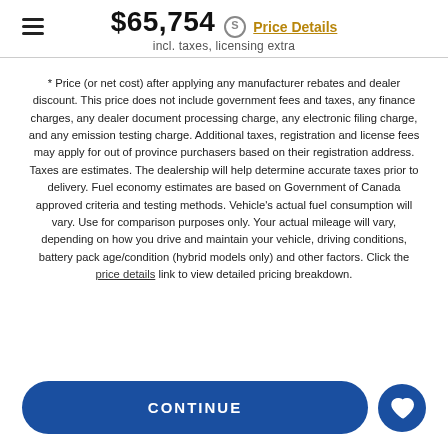$65,754 incl. taxes, licensing extra
* Price (or net cost) after applying any manufacturer rebates and dealer discount. This price does not include government fees and taxes, any finance charges, any dealer document processing charge, any electronic filing charge, and any emission testing charge. Additional taxes, registration and license fees may apply for out of province purchasers based on their registration address. Taxes are estimates. The dealership will help determine accurate taxes prior to delivery. Fuel economy estimates are based on Government of Canada approved criteria and testing methods. Vehicle's actual fuel consumption will vary. Use for comparison purposes only. Your actual mileage will vary, depending on how you drive and maintain your vehicle, driving conditions, battery pack age/condition (hybrid models only) and other factors. Click the price details link to view detailed pricing breakdown.